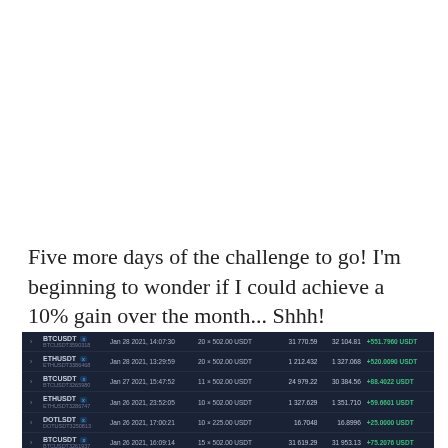Five more days of the challenge to go! I'm beginning to wonder if I could achieve a 10% gain over the month... Shhh!
|  | Pair | Date/Time | Size |  | Entry | Exit | P&L |
| --- | --- | --- | --- | --- | --- | --- | --- |
|  | BTCUSDT [x] BTCUSDT3590318 | Jan 28 2021, 14:07:30 | 20 × 502.00 USDT |  | 31 770.59 | 32 104.81 | +551.7960 USDT |
|  | ETHUSDT [x] ETHUSDT3386468 | Jan 28 2021, 13:29:59 | 20 × 502.00 USDT |  | 1 212.432 | 1 327.068 | +520.0090 USDT |
|  | BTCUSDT [x] BTCUSDT3265980 | Jan 27 2021, 15:47:52 | 11 × 502.00 USDT |  | 24 979.22 | 30 384.56 | +88.4022 USDT |
|  | ETHUSDT [x] ETHUSDT3286747 | Jan 26 2021, 23:52:05 | 10 × 502.00 USDT |  | 1 327.629 | 1 351.710 | +59.6601 USDT |
|  | DOTLSDT [x] DOTUSDT3250813 | Jan 26 2021, 17:00:21 | 10 × 225.00 USDT |  | 16.7048 | 16.8996 | +25.0000 USDT |
|  | BTCUSDT [x] BTCUSDT3261937 | Jan 26 2021, 16:09:14 | 15 × 502.00 USDT |  | 31 619.29 | 31 953.13 | +75.2076 USDT |
|  | BTCUSDT [x] BTCUSDT3241982 | Jan 26 2021, 38:52:11 | 15 × 251.00 USDT |  | 31 660.14 | 31 764.26 | +8.0790 USDT |
|  | BTCUSDT [x] BTCUSDT3207965 | Jan 25 2021, 12:18:47 | 25 × 502.00 USDT |  | 33 262.39 | 33 445.98 | +13.6229 USDT |